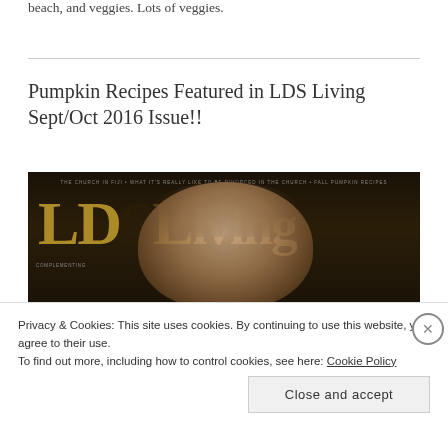beach, and veggies. Lots of veggies.
Pumpkin Recipes Featured in LDS Living Sept/Oct 2016 Issue!!
[Figure (photo): Cover of LDS Living magazine Sept/Oct 2016 issue showing a man's face and the magazine logo in gold text on dark background. Tagline reads: THE CHURCH IN FIJI • WHAT IT'S REALLY LIKE TO BE DIVORCED IN THE CHURCH • FALL PUMPKIN RECIPES]
Privacy & Cookies: This site uses cookies. By continuing to use this website, you agree to their use.
To find out more, including how to control cookies, see here: Cookie Policy
Close and accept